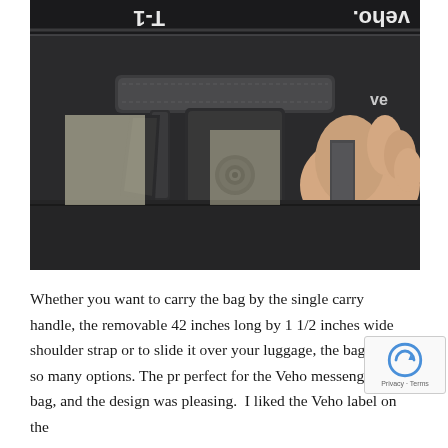[Figure (photo): Close-up photo of a black Veho T-1 messenger bag being held by a hand, showing the carry handle with a snap button fastener. The bag has white text logos reading 'T-1' and 'veho.' visible on the black fabric. The background shows a light yellow/cream surface.]
Whether you want to carry the bag by the single carry handle, the removable 42 inches long by 1 1/2 inches wide shoulder strap or to slide it over your luggage, the bag has so many options. The pr perfect for the Veho messenger bag, and the design was pleasing.  I liked the Veho label on the